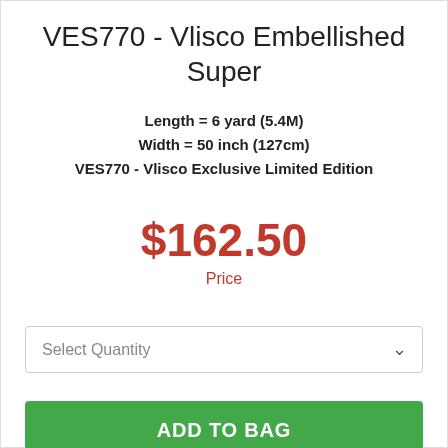VES770 - Vlisco Embellished Super
Length = 6 yard (5.4M)
Width = 50 inch (127cm)
VES770 - Vlisco Exclusive Limited Edition
$162.50
Price
Select Quantity
ADD TO BAG